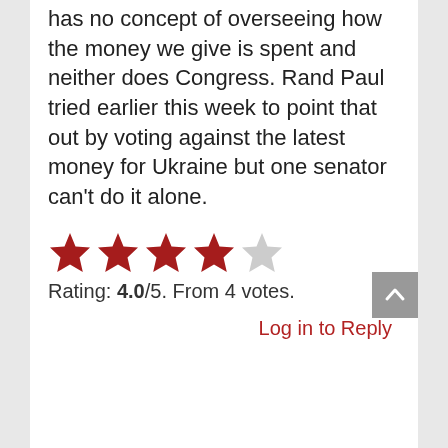has no concept of overseeing how the money we give is spent and neither does Congress. Rand Paul tried earlier this week to point that out by voting against the latest money for Ukraine but one senator can't do it alone.
[Figure (other): Star rating display: 4 filled red stars and 1 empty/gray star out of 5]
Rating: 4.0/5. From 4 votes.
Log in to Reply